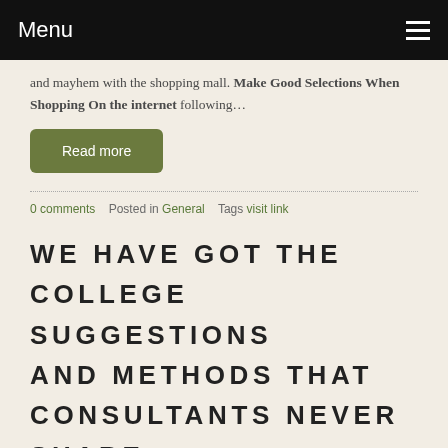Menu
and mayhem with the shopping mall. Make Good Selections When Shopping On the internet following…
Read more
0 comments   Posted in General   Tags visit link
WE HAVE GOT THE COLLEGE SUGGESTIONS AND METHODS THAT CONSULTANTS NEVER SHARE